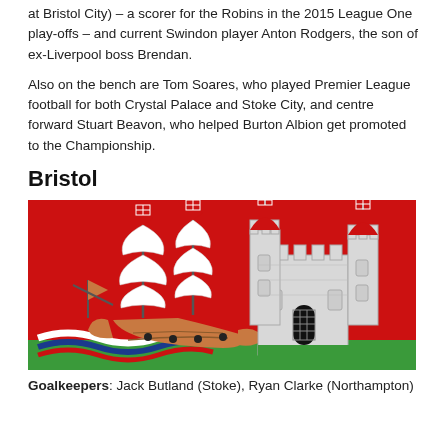They are joined by substitute midfielder Ben Gladwin (QPR, now on loan at Bristol City) – a scorer for the Robins in the 2015 League One play-offs – and current Swindon player Anton Rodgers, the son of ex-Liverpool boss Brendan.
Also on the bench are Tom Soares, who played Premier League football for both Crystal Palace and Stoke City, and centre forward Stuart Beavon, who helped Burton Albion get promoted to the Championship.
Bristol
[Figure (illustration): Bristol city coat of arms showing a galleon ship on waves on the left and a castle with towers on the right, all on a red background with green grass at the bottom.]
Goalkeepers: Jack Butland (Stoke), Ryan Clarke (Northampton)